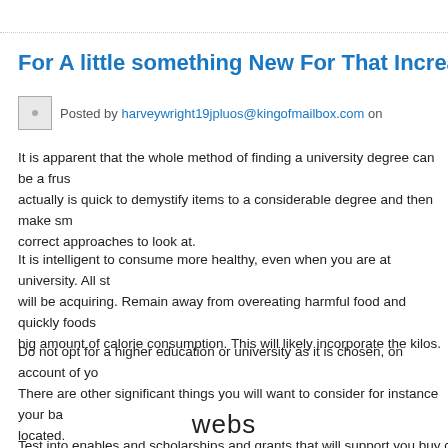For A little something New For That Increased, Ex
Posted by harveywright19jpluos@kingofmailbox.com on
It is apparent that the whole method of finding a university degree can be a frus actually is quick to demystify items to a considerable degree and then make sm correct approaches to look at.
It is intelligent to consume more healthy, even when you are at university. All st will be acquiring. Remain away from overeating harmful food and quickly foods big amount of calorie consumption. This will likely incorporate the kilos.
Do not opt for a higher education or university as it is chosen, on account of yo There are other significant things you will want to consider for instance your ba located.
Test into enables and scholarships and grants that will support you buy college
webs